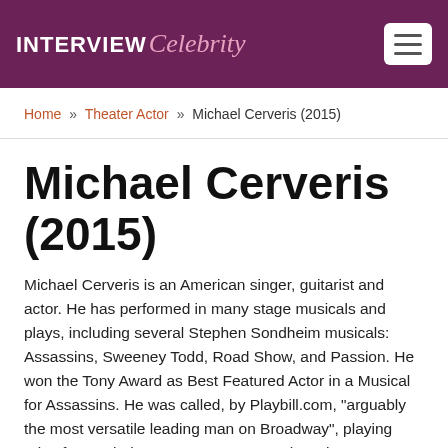INTERVIEW Celebrity
Home » Theater Actor » Michael Cerveris (2015)
Michael Cerveris (2015)
Michael Cerveris is an American singer, guitarist and actor. He has performed in many stage musicals and plays, including several Stephen Sondheim musicals: Assassins, Sweeney Todd, Road Show, and Passion. He won the Tony Award as Best Featured Actor in a Musical for Assassins. He was called, by Playbill.com, "arguably the most versatile leading man on Broadway", playing roles from "Shakespeare's Romeo to The Who's Tommy, from the German transsexual rock diva Hedwig in Hedwig and the Angry Inch to the homicidal title character of Sondheim's Sweeney Todd." Cerveris' most visible television role to date has been as the Observer code-named September in the FOX science fiction television series Fringe. His character, a mysterious man seen attending many